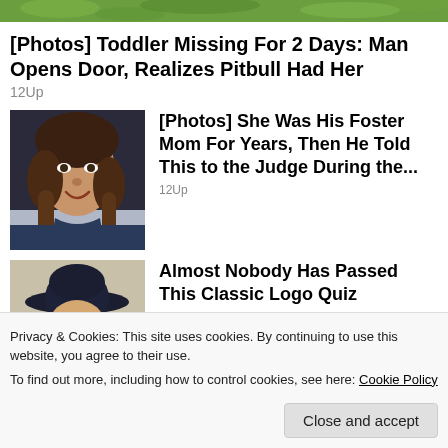[Figure (photo): Cropped top portion of an outdoor nature/foliage photo showing green leaves and grass]
[Photos] Toddler Missing For 2 Days: Man Opens Door, Realizes Pitbull Had Her
12Up
[Figure (photo): Portrait photo of a young smiling woman with long brown hair]
[Photos] She Was His Foster Mom For Years, Then He Told This to the Judge During the...
12Up
[Figure (photo): Photo of an elderly person wearing a dark cowboy hat]
Almost Nobody Has Passed This Classic Logo Quiz
Privacy & Cookies: This site uses cookies. By continuing to use this website, you agree to their use.
To find out more, including how to control cookies, see here: Cookie Policy
Close and accept